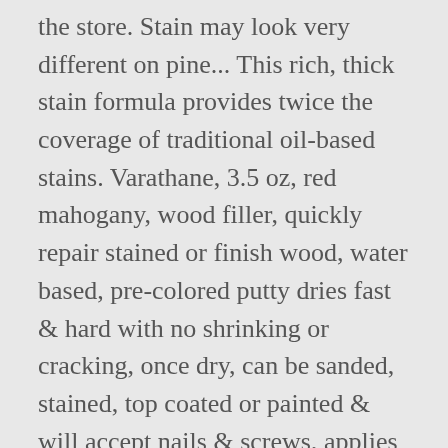the store. Stain may look very different on pine... This rich, thick stain formula provides twice the coverage of traditional oil-based stains. Varathane, 3.5 oz, red mahogany, wood filler, quickly repair stained or finish wood, water based, pre-colored putty dries fast & hard with no shrinking or cracking, once dry, can be sanded, stained, top coated or painted & will accept nails & screws, applies easily & cleans up with soap & water. Oct 27, 2014 - From the left: Varathane Early American Varathane Golden Mahogany Varathane Provincial Varathane Ipswich Pine Foodie Wingman. Varathane Premium Gel Stain is designed for application on vertical surfaces such as doors and window trim where dripping